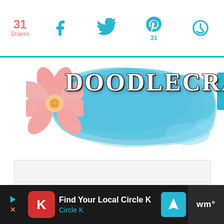31 Shares — social share bar with Facebook, Twitter, Pinterest (31), and refresh icons
[Figure (logo): Doodlecraft blog logo with large serif white text 'DOODLECRAFT' on a blue watercolor splash background with a pink flower on the left]
[Figure (other): Content loading area with three gray dots indicating loading state]
[Figure (screenshot): Advertisement bar at bottom: Find Your Local Circle K — Circle K, with red Circle K icon and blue navigation arrow icon]